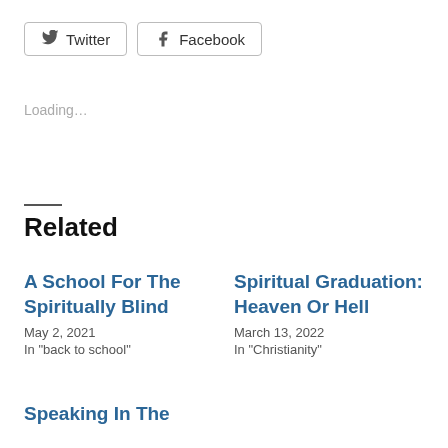Twitter  Facebook
Loading…
Related
A School For The Spiritually Blind
May 2, 2021
In "back to school"
Spiritual Graduation: Heaven Or Hell
March 13, 2022
In "Christianity"
Speaking In The